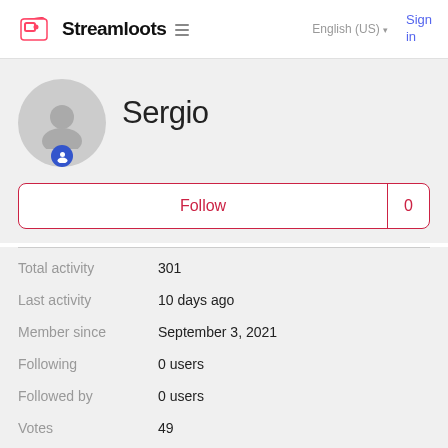Streamloots | English (US) | Sign in
Sergio
Follow 0
Total activity 301
Last activity 10 days ago
Member since September 3, 2021
Following 0 users
Followed by 0 users
Votes 49
Subscriptions 194